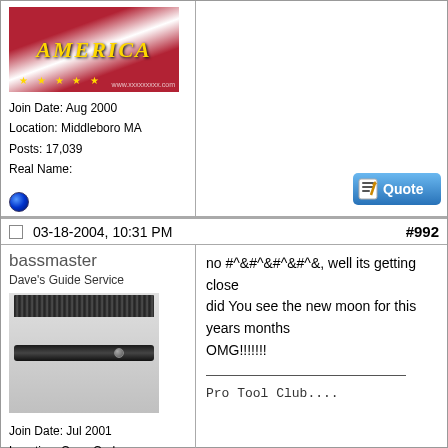[Figure (illustration): American flag avatar with 'AMERICA' text in gold on red/white flag background]
Join Date: Aug 2000
Location: Middleboro MA
Posts: 17,039
Real Name:
[Figure (illustration): Quote button icon with notepad graphic]
03-18-2004, 10:31 PM
#992
bassmaster
Dave's Guide Service
[Figure (photo): Black fishing lure/brush on grey background]
Join Date: Jul 2001
Location: Cape Cod
Posts: 7,557
Real Name:
no #^&#^&#^&#^&, well its getting close
did You see the new moon for this years months
OMG!!!!!!!

___________________
Pro Tool Club....